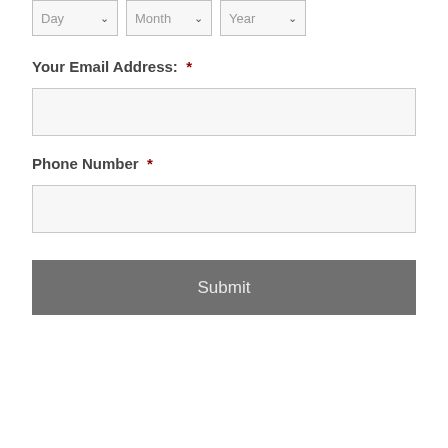[Figure (screenshot): Date selector dropdowns with Day, Month, Year labels]
Your Email Address:  *
[Figure (screenshot): Email address text input field (empty)]
Phone Number  *
[Figure (screenshot): Phone number text input field (empty)]
Submit